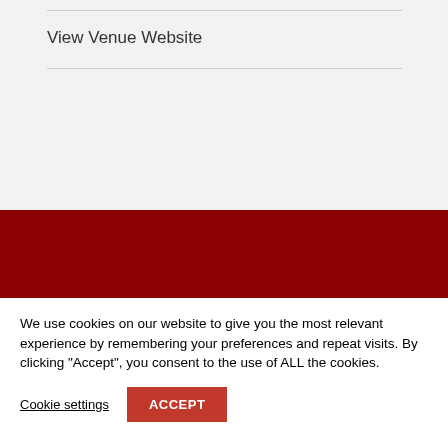View Venue Website
[Figure (logo): Rob Dob's logo in white italic script text on dark red/maroon background]
We use cookies on our website to give you the most relevant experience by remembering your preferences and repeat visits. By clicking “Accept”, you consent to the use of ALL the cookies.
Cookie settings
ACCEPT